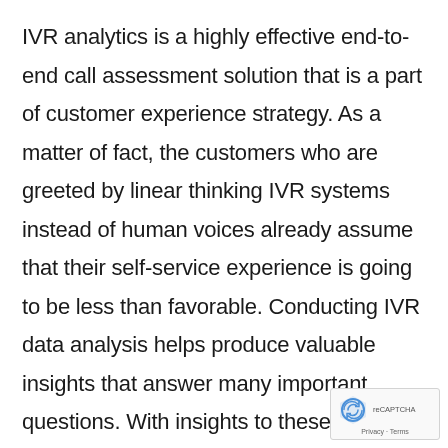IVR analytics is a highly effective end-to-end call assessment solution that is a part of customer experience strategy. As a matter of fact, the customers who are greeted by linear thinking IVR systems instead of human voices already assume that their self-service experience is going to be less than favorable. Conducting IVR data analysis helps produce valuable insights that answer many important questions. With insights to these questions, organizations can improve their IVR systems, make them more clear, efficient and user-friendly in responding to callers. Thus, IVR